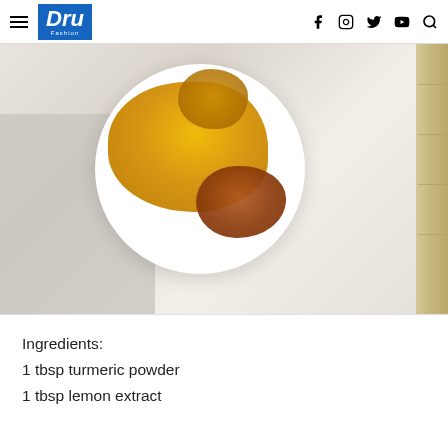Dru Fashion — navigation header with hamburger menu, logo, and social icons (Facebook, Instagram, Twitter, YouTube, Search)
[Figure (photo): Top-down view of a white bowl on a wooden tray with gray cloth, containing golden turmeric powder, brown cinnamon powder, and honey]
Ingredients:
1 tbsp turmeric powder
1 tbsp lemon extract